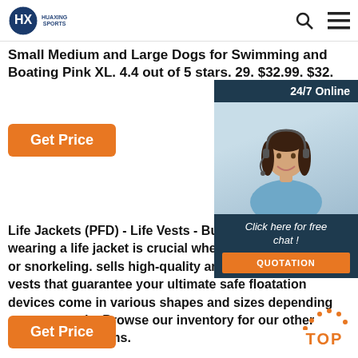HUAXING SPORTS
Small Medium and Large Dogs for Swimming and Boating Pink XL. 4.4 out of 5 stars. 29. $32.99. $32.
Get Price
[Figure (photo): Customer service representative wearing headset, smiling, with 24/7 Online chat panel overlay showing 'Click here for free chat!' and QUOTATION button]
Life Jackets (PFD) - Life Vests - Buy at That's why wearing a life jacket is cru whenever you go diving or snorkeling. sells high-quality and reliable life jack vests that guarantee your ultimate sa floatation devices come in various shapes and sizes depending on your needs. Browse our inventory for our other marine safety items.
Get Price
[Figure (other): TOP button with dotted arc design in orange]